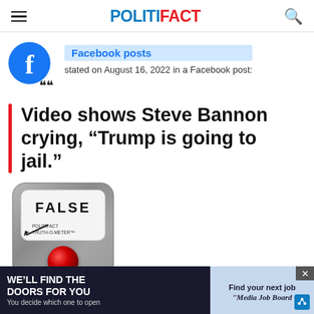POLITIFACT
Facebook posts stated on August 16, 2022 in a Facebook post:
Video shows Steve Bannon crying, "Trump is going to jail."
[Figure (other): PolitiFact Truth-O-Meter dial showing FALSE rating with red button at bottom]
By Ciara O'Rourke • August 19, 2022
WE'LL FIND THE DOORS FOR YOU You decide which one to open | Find your next job | Media Job Board